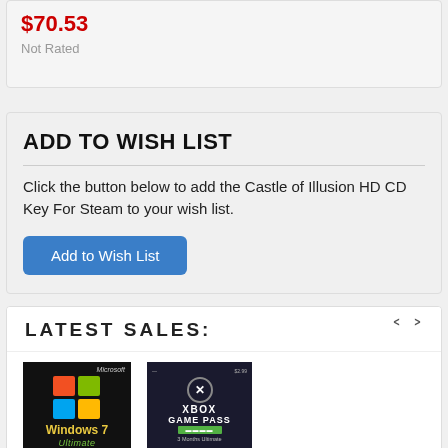$70.53
Not Rated
ADD TO WISH LIST
Click the button below to add the Castle of Illusion HD CD Key For Steam to your wish list.
Add to Wish List
LATEST SALES:
[Figure (screenshot): Windows 7 Ultimate product box image on dark background with Microsoft logo]
[Figure (screenshot): Xbox Game Pass 3 Months Ultimate card on dark background]